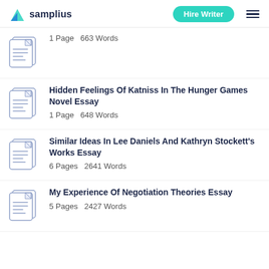samplius | Hire Writer
1 Page  663 Words
Hidden Feelings Of Katniss In The Hunger Games Novel Essay
1 Page  648 Words
Similar Ideas In Lee Daniels And Kathryn Stockett's Works Essay
6 Pages  2641 Words
My Experience Of Negotiation Theories Essay
5 Pages  2427 Words